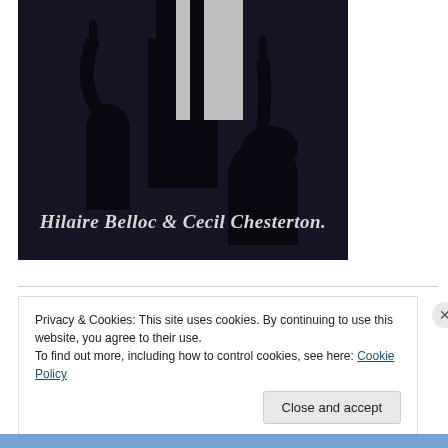[Figure (illustration): Black and white illustration showing silhouettes of figures pointing upward, with text at the bottom reading 'Hilaire Belloc & Cecil Chesterton.' in italic serif font against a dark background.]
Privacy & Cookies: This site uses cookies. By continuing to use this website, you agree to their use.
To find out more, including how to control cookies, see here: Cookie Policy
Close and accept